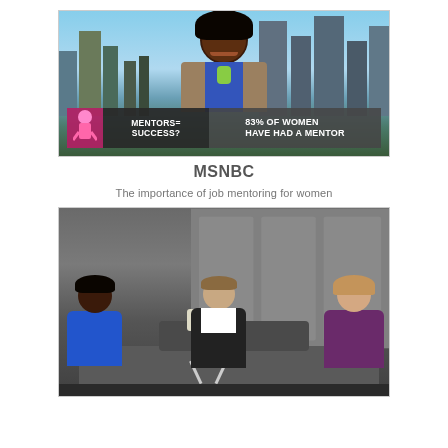[Figure (screenshot): MSNBC TV screenshot of a woman being interviewed with lower-third graphic reading 'MENTORS= SUCCESS?' and '83% OF WOMEN HAVE HAD A MENTOR', city skyline background]
MSNBC
The importance of job mentoring for women
[Figure (screenshot): TV studio panel discussion with three people seated — a woman in blue dress on the left, a man in dark jacket in the center, and a woman in purple dress on the right, with a white lamp in between]